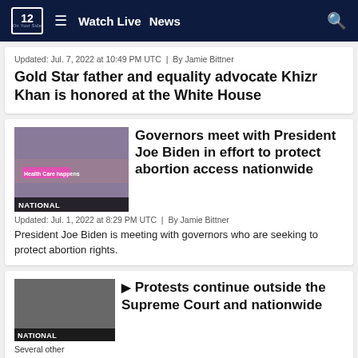NBC 12 | Watch Live  News
Updated: Jul. 7, 2022 at 10:49 PM UTC  |  By Jamie Bittner
Gold Star father and equality advocate Khizr Khan is honored at the White House
[Figure (photo): Protest crowd with health care banner labeled NATIONAL]
Governors meet with President Joe Biden in effort to protect abortion access nationwide
Updated: Jul. 1, 2022 at 8:29 PM UTC  |  By Jamie Bittner
President Joe Biden is meeting with governors who are seeking to protect abortion rights.
[Figure (photo): Grayscale protest image labeled NATIONAL with caption: Several other demonstrations continue across the nation.]
Protests continue outside the Supreme Court and nationwide